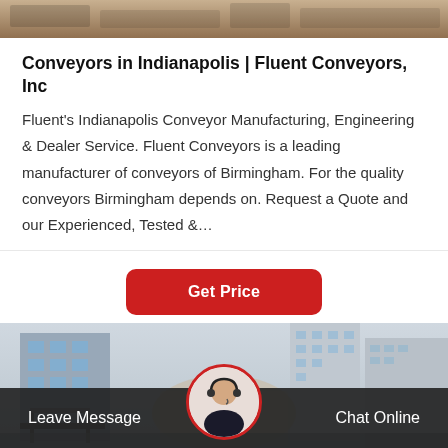[Figure (photo): Top banner photo of conveyor or industrial equipment, cropped view]
Conveyors in Indianapolis | Fluent Conveyors, Inc
Fluent's Indianapolis Conveyor Manufacturing, Engineering & Dealer Service. Fluent Conveyors is a leading manufacturer of conveyors of Birmingham. For the quality conveyors Birmingham depends on. Request a Quote and our Experienced, Tested &…
[Figure (other): Red 'Get Price' button]
[Figure (photo): Photo of industrial/urban buildings with conveyor equipment in foreground]
Leave Message   Chat Online